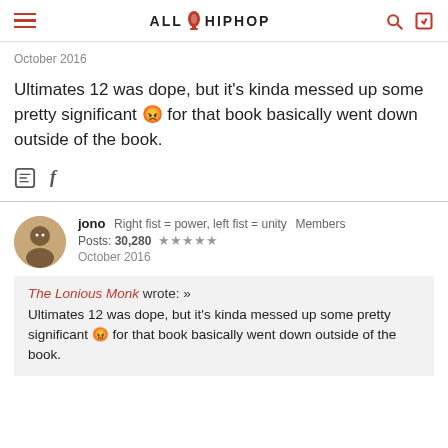ALL HIPHOP
October 2016
Ultimates 12 was dope, but it's kinda messed up some pretty significant 😡 for that book basically went down outside of the book.
jono   Right fist = power, left fist = unity   Members
Posts: 30,280 ★★★★★
October 2016
The Lonious Monk wrote: »
Ultimates 12 was dope, but it's kinda messed up some pretty significant 😡 for that book basically went down outside of the book.